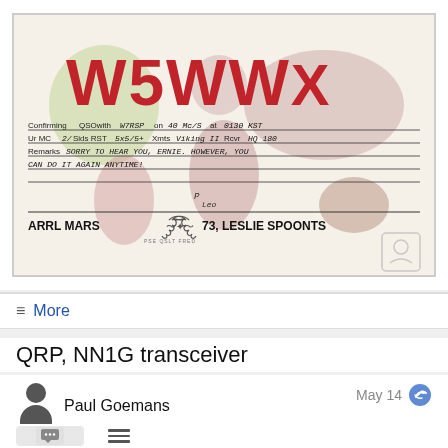[Figure (photo): QSL card from W5WWX showing amateur radio contact confirmation. Red bold W5WWX callsign at top over a world map background. Handwritten QSO details including contact info, RST, remarks about ARRL MARS. Footer reads ARRL MARS 73, LESLIE SPOONTS.]
≡ More
QRP, NN1G transceiver
Paul Goemans
May 14